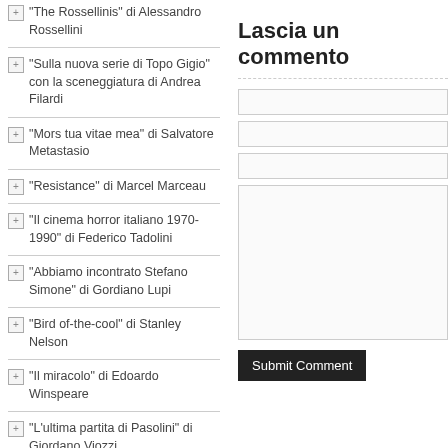“The Rossellinis” di Alessandro Rossellini
“Sulla nuova serie di Topo Gigio” con la sceneggiatura di Andrea Filardi
“Mors tua vitae mea” di Salvatore Metastasio
“Resistance” di Marcel Marceau
“Il cinema horror italiano 1970-1990” di Federico Tadolini
“Abbiamo incontrato Stefano Simone” di Gordiano Lupi
“Bird of-the-cool” di Stanley Nelson
“Il miracolo” di Edoardo Winspeare
“L’ultima partita di Pasolini” di Giordano Viozzi
Lascia un commento
Submit Comment